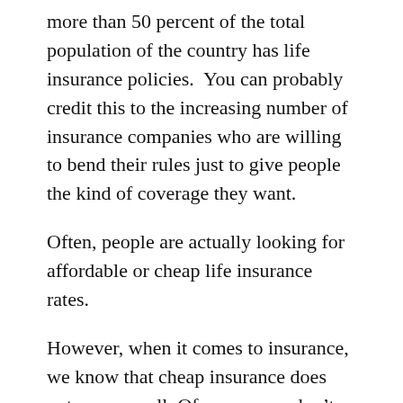more than 50 percent of the total population of the country has life insurance policies.  You can probably credit this to the increasing number of insurance companies who are willing to bend their rules just to give people the kind of coverage they want.
Often, people are actually looking for affordable or cheap life insurance rates.
However, when it comes to insurance, we know that cheap insurance does not covers well. Of course, we don't need expensive ones so the challenge is to find one insurance rates that will suit our budget and our current financial status.